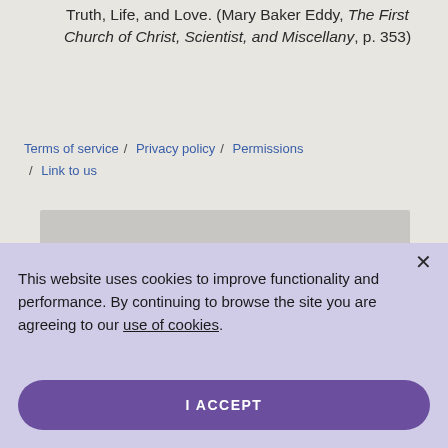Truth, Life, and Love. (Mary Baker Eddy, The First Church of Christ, Scientist, and Miscellany, p. 353)
Terms of service / Privacy policy / Permissions / Link to us
This website uses cookies to improve functionality and performance. By continuing to browse the site you are agreeing to our use of cookies.